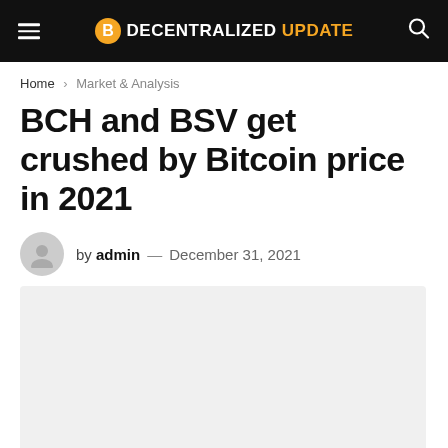DECENTRALIZED UPDATE
Home > Market & Analysis
BCH and BSV get crushed by Bitcoin price in 2021
by admin — December 31, 2021
[Figure (photo): Light grey placeholder image area for article featured image]